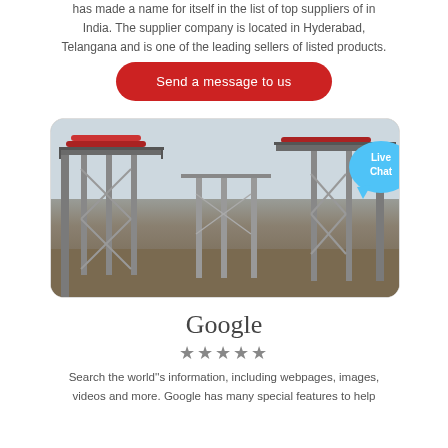has made a name for itself in the list of top suppliers of in India. The supplier company is located in Hyderabad, Telangana and is one of the leading sellers of listed products.
Send a message to us
[Figure (photo): Industrial conveyor belt and steel structure facility with scaffolding, viewed from ground level. A blue 'Live Chat' speech bubble overlay appears in the upper right corner.]
Google
★★★★★
Search the world's information, including webpages, images, videos and more. Google has many special features to help